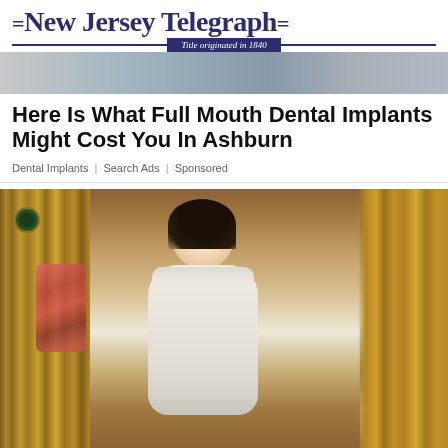=New Jersey Telegraph= | Title originated in 1840
[Figure (photo): Partial banner image showing dental/medical related content, cropped at top]
Here Is What Full Mouth Dental Implants Might Cost You In Ashburn
Dental Implants | Search Ads | Sponsored
[Figure (photo): Woman wrapped in white towel sitting inside a wooden sauna cabin, with a clock visible on the left wall and floral decoration]